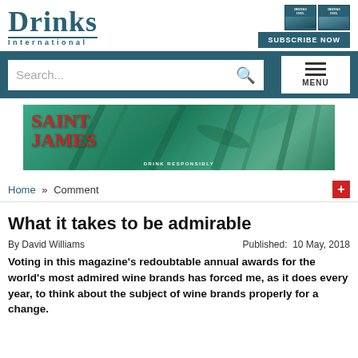DRINKS INTERNATIONAL
[Figure (screenshot): Subscribe Now banner with two magazine covers]
[Figure (photo): Saint James rum advertisement banner with tropical foliage background]
Home » Comment
What it takes to be admirable
By David Williams    Published: 10 May, 2018
Voting in this magazine's redoubtable annual awards for the world's most admired wine brands has forced me, as it does every year, to think about the subject of wine brands properly for a change.